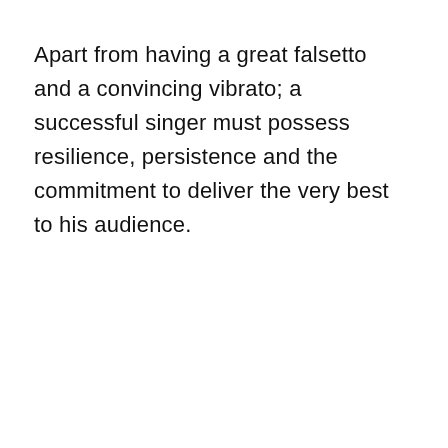Apart from having a great falsetto and a convincing vibrato; a successful singer must possess resilience, persistence and the commitment to deliver the very best to his audience.